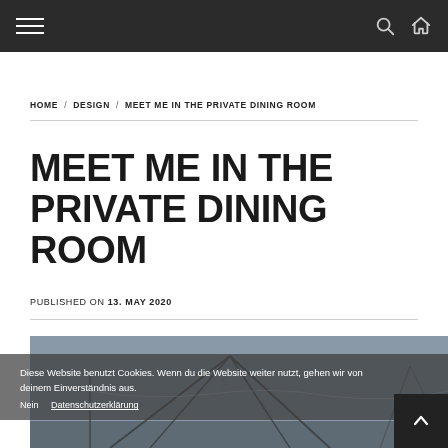Navigation bar with hamburger menu, search icon, and home icon
HOME / DESIGN / MEET ME IN THE PRIVATE DINING ROOM
MEET ME IN THE PRIVATE DINING ROOM
PUBLISHED ON 13. MAY 2020
[Figure (photo): Outdoor photo of a glass structure with string lights and cranes in the background]
Diese Website benutzt Cookies. Wenn du die Website weiter nutzt, gehen wir von deinem Einverständnis aus. Nein Datenschutzerklärung